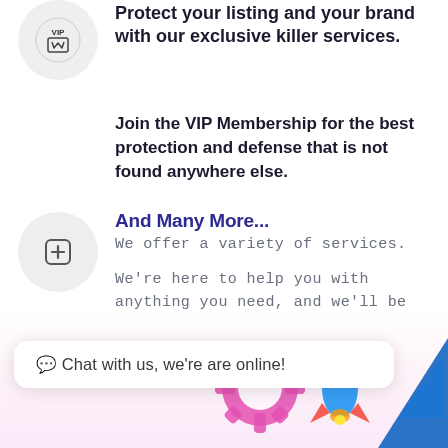Protect your listing and your brand with our exclusive killer services.
Join the VIP Membership for the best protection and defense that is not found anywhere else.
And Many More...
We offer a variety of services.
We're here to help you with anything you need, and we'll be happy to talk with you about the
💬 Chat with us, we're are online!
[Figure (illustration): Colorful illustrated scene with gear icons, a rocket, and geometric shapes in pink, blue, and yellow, suggesting a business or marketing service theme. Includes a purple chat bubble icon with speech symbol.]